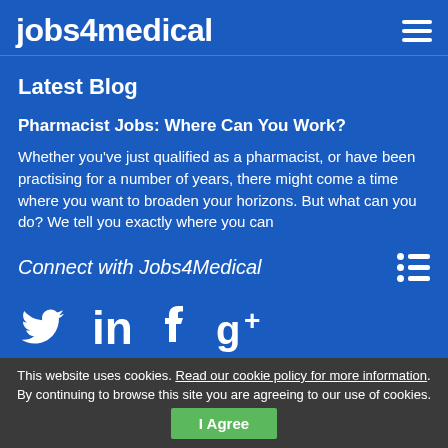jobs4medical
Latest Blog
Pharmacist Jobs: Where Can You Work?
Whether you've just qualified as a pharmacist, or have been practising for a number of years, there might come a time where you want to broaden your horizons. But what can you do? We tell you exactly where you can
Connect with Jobs4Medical
[Figure (logo): Social media icons: Twitter bird, LinkedIn 'in', Facebook 'f', Google Plus 'g+']
This website uses cookies. Read our cookie policy for more information. By continuing to browse this site you are agreeing to our use of cookies.